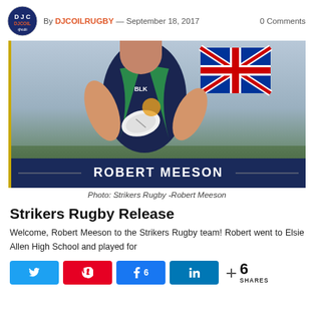By DJCOILRUGBY — September 18, 2017   0 Comments
[Figure (photo): Rugby player Robert Meeson in a navy and green BLK jersey running with ball, with UK flag in background. Player name overlay 'ROBERT MEESON' on dark blue banner at bottom.]
Photo: Strikers Rugby -Robert Meeson
Strikers Rugby Release
Welcome, Robert Meeson to the Strikers Rugby team! Robert went to Elsie Allen High School and played for
Share buttons: Twitter, Pinterest, Facebook (6), LinkedIn, 6 SHARES